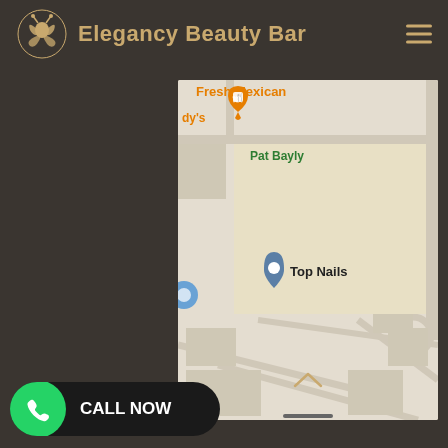Elegancy Beauty Bar
[Figure (map): Google Maps partial view showing location near 'Fresh Mexican', 'dy's' restaurant, 'Pat Bayly', and 'Top Nails' with a grey location pin marker. Map shows street layout with roads and blocks.]
CALL NOW